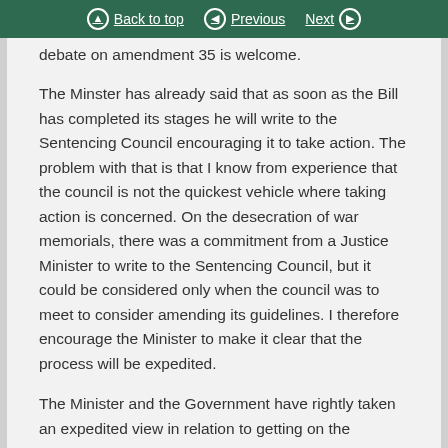Back to top | Previous | Next
debate on amendment 35 is welcome.
The Minster has already said that as soon as the Bill has completed its stages he will write to the Sentencing Council encouraging it to take action. The problem with that is that I know from experience that the council is not the quickest vehicle where taking action is concerned. On the desecration of war memorials, there was a commitment from a Justice Minister to write to the Sentencing Council, but it could be considered only when the council was to meet to consider amending its guidelines. I therefore encourage the Minister to make it clear that the process will be expedited.
The Minister and the Government have rightly taken an expedited view in relation to getting on the